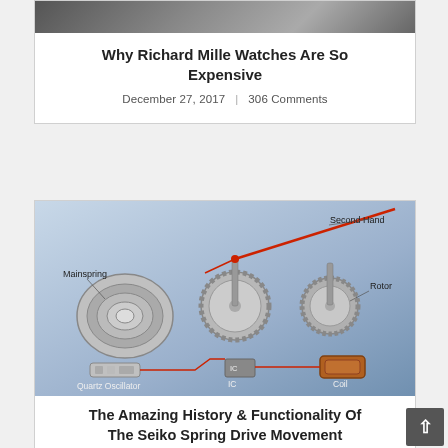[Figure (photo): Partial top image of a watch, cropped at the top of the card]
Why Richard Mille Watches Are So Expensive
December 27, 2017    306 Comments
[Figure (illustration): Diagram of a watch movement showing Mainspring, Second Hand, Rotor, IC, Coil, and Quartz Oscillator components]
The Amazing History & Functionality Of The Seiko Spring Drive Movement
February 5, 2017    72 Comments